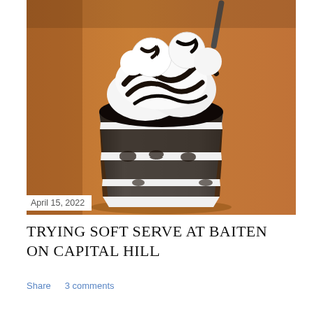[Figure (photo): A clear plastic cup containing layered black and white soft serve ice cream with dark chocolate sauce swirled throughout, topped with white marshmallow-like balls drizzled with dark chocolate, sitting on a wooden table surface.]
April 15, 2022
TRYING SOFT SERVE AT BAITEN ON CAPITAL HILL
Share   3 comments